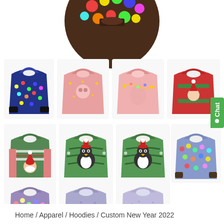[Figure (photo): E-commerce product page showing a grid of Christmas/holiday themed hoodies and sweatshirts. Top partial view of a colorful Christmas lights hoodie, then rows of themed hoodies: colorful lights hoodie, pink star hoodie, pink cat hoodie, red Santa sweater; green Santa sweater, penguin Christmas tree hoodie (x2), blue colorful lights hoodie; three purple/grey hoodies. A green Chat button is on the right side.]
Home / Apparel / Hoodies / Custom New Year 2022